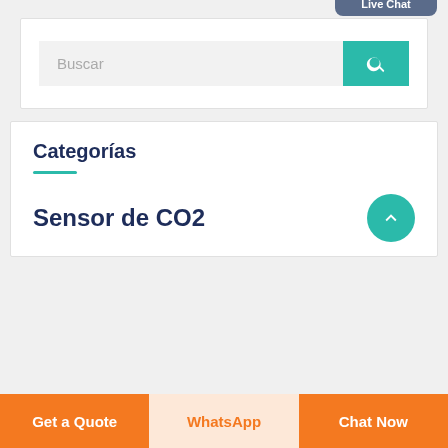[Figure (screenshot): Search bar with placeholder text 'Buscar' and a teal search button with magnifying glass icon]
[Figure (screenshot): Live Chat widget popup with person icon and 'Live Chat' label on dark blue/grey background]
Categorías
Sensor de CO2
[Figure (illustration): Teal circular icon with upward chevron arrow]
Get a Quote
WhatsApp
Chat Now